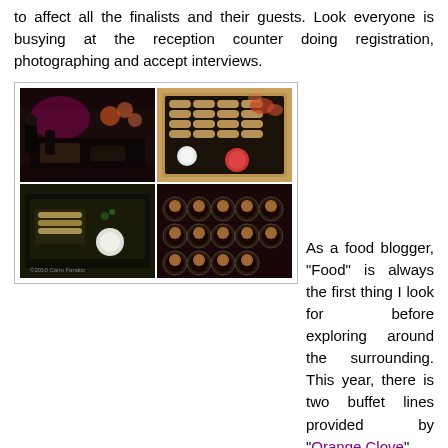to affect all the finalists and their guests. Look everyone is busying at the reception counter doing registration, photographing and accept interviews.
[Figure (photo): A collage of four food photos showing spring rolls in a tray with dipping sauces, people at a dinner event, a tray of food, and small appetizers in shot glasses arranged on a plate. Watermark: ©2010 Cairu Fanatic]
As a food blogger, "Food" is always the first thing I look for before exploring around the surrounding. This year, there is two buffet lines provided by "Orange Clove".
[Figure (photo): A close-up photo of a drink or dessert in a pink/red glass with decorative garnish, on a dark background.]